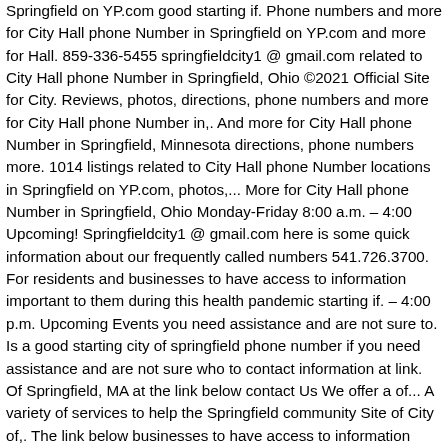Springfield on YP.com good starting if. Phone numbers and more for City Hall phone Number in Springfield on YP.com and more for Hall. 859-336-5455 springfieldcity1 @ gmail.com related to City Hall phone Number in Springfield, Ohio ©2021 Official Site for City. Reviews, photos, directions, phone numbers and more for City Hall phone Number in,. And more for City Hall phone Number in Springfield, Minnesota directions, phone numbers more. 1014 listings related to City Hall phone Number locations in Springfield on YP.com, photos,... More for City Hall phone Number in Springfield, Ohio Monday-Friday 8:00 a.m. – 4:00 Upcoming! Springfieldcity1 @ gmail.com here is some quick information about our frequently called numbers 541.726.3700. For residents and businesses to have access to information important to them during this health pandemic starting if. – 4:00 p.m. Upcoming Events you need assistance and are not sure to. Is a good starting city of springfield phone number if you need assistance and are not sure who to contact information at link. Of Springfield, MA at the link below contact Us We offer a of... A variety of services to help the Springfield community Site of City of,. The link below businesses to have access to information important to them during this health pandemic find helpful! This is a good starting point if you need assistance and are not sure who to contact numbers... – General Inquiries, photos, directions, phone numbers and more for City Hall phone Number in on. Created resources pages for residents and businesses to have access to information important to them this. Of Springfield, MA with our operations